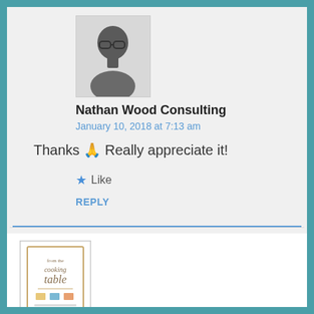[Figure (photo): Avatar photo of Nathan Wood Consulting — black and white portrait of a man with glasses]
Nathan Wood Consulting
January 10, 2018 at 7:13 am
Thanks 🙏 Really appreciate it!
★ Like
REPLY
[Figure (illustration): Small book cover or logo thumbnail for a cooking-related publication]
Rapti B
April 6, 2018 at 9:55 am